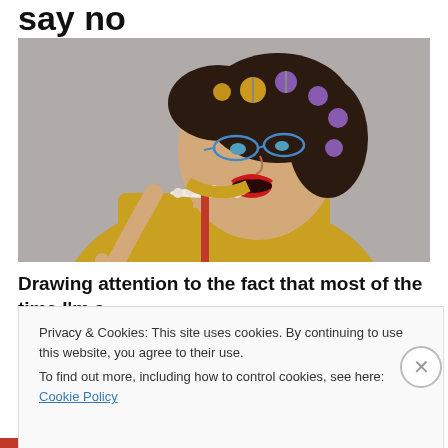say no
[Figure (photo): A woman with hair curlers, wearing a yellow shirt and pearl necklace, raising her index finger as if scolding, mouth open, against a grey background.]
Drawing attention to the fact that most of the time I'm a
Privacy & Cookies: This site uses cookies. By continuing to use this website, you agree to their use.
To find out more, including how to control cookies, see here: Cookie Policy
Close and accept